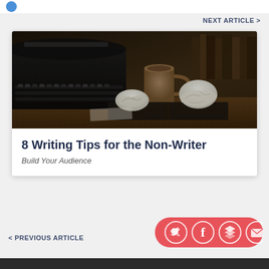NEXT ARTICLE >
[Figure (photo): A vintage typewriter on a desk with crumpled paper balls and an open book, warm sepia-toned atmosphere with a coffee mug in the background]
8 Writing Tips for the Non-Writer
Build Your Audience
< PREVIOUS ARTICLE
[Figure (infographic): Social sharing bar with Twitter, Facebook, Buffer/Layers, and Email icons on a coral/red rounded background]